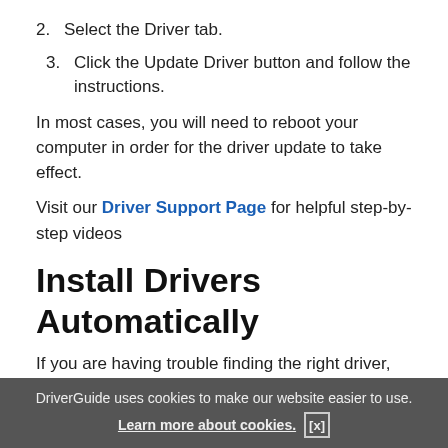2. Select the Driver tab.
3. Click the Update Driver button and follow the instructions.
In most cases, you will need to reboot your computer in order for the driver update to take effect.
Visit our Driver Support Page for helpful step-by-step videos
Install Drivers Automatically
If you are having trouble finding the right driver, stop searching and fix driver problems faster with the Automatic Driver Update Utility. Automatic updates could save you hours of time.
The Driver Update Utility automatically finds, downloads and installs the right driver for your hardware and
DriverGuide uses cookies to make our website easier to use. Learn more about cookies. [x]